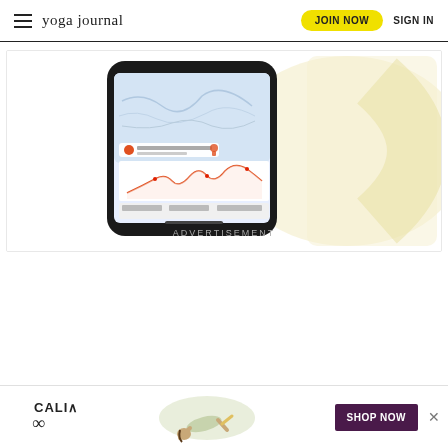yoga journal | JOIN NOW | SIGN IN
[Figure (screenshot): Mobile app screenshot showing a hiking trail map (Sedona Ridge Route) with elevation profile and metrics, displayed on a smartphone against a light yellow decorative background]
ADVERTISEMENT
[Figure (illustration): CALIA advertisement banner showing a woman in a yoga/plank pose wearing green activewear, with CALIA logo and SHOP NOW button on dark purple background]